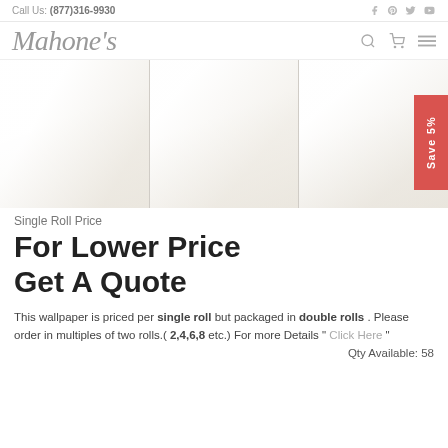Call Us: (877)316-9930
[Figure (logo): Mahone's cursive logo in grey]
[Figure (photo): White/off-white tile wallpaper product image showing three panels with subtle texture. Red 'Save 5%' badge on right side.]
Single Roll Price
For Lower Price Get A Quote
This wallpaper is priced per single roll but packaged in double rolls . Please order in multiples of two rolls.( 2,4,6,8 etc.) For more Details " Click Here " Qty Available: 58